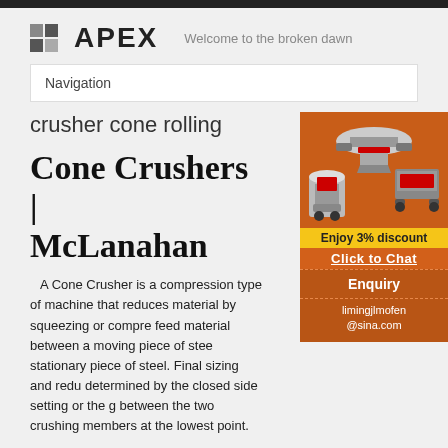APEX — Welcome to the broken dawn
Navigation
crusher cone rolling
Cone Crushers | McLanahan
[Figure (photo): Advertisement panel showing industrial cone crusher and other mining equipment on orange background, with 'Enjoy 3% discount', 'Click to Chat', 'Enquiry', and 'limingjlmofen@sina.com' text]
A Cone Crusher is a compression type of machine that reduces material by squeezing or compressing feed material between a moving piece of steel and a stationary piece of steel. Final sizing and reduction is determined by the closed side setting or the gap between the two crushing members at the lowest point.